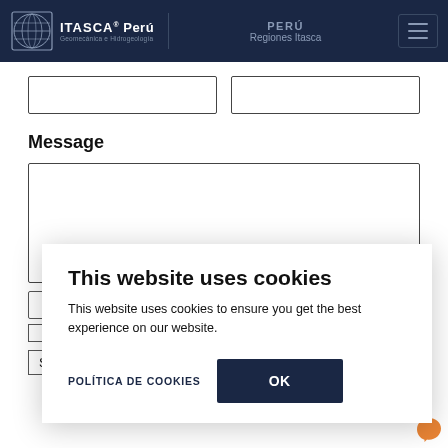ITASCA Perú Geomecánica e Hidrogeología | PERÚ Regiones Itasca
Message
[Figure (screenshot): Cookie consent dialog overlay with title 'This website uses cookies', body text, a 'POLÍTICA DE COOKIES' link, and an 'OK' button]